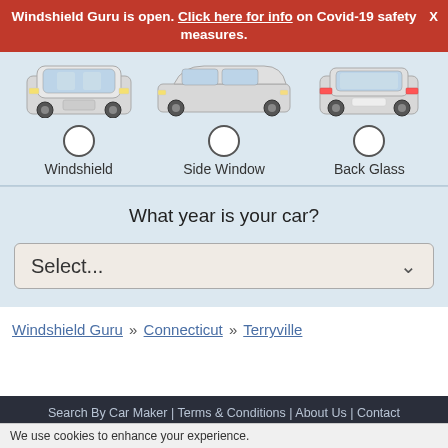Windshield Guru is open. Click here for info on Covid-19 safety measures.
[Figure (screenshot): Three car images showing front view (Windshield), side view (Side Window), and rear view (Back Glass) with radio button selectors below each.]
What year is your car?
Select...
Windshield Guru » Connecticut » Terryville
Search By Car Maker | Terms & Conditions | About Us | Contact
We use cookies to enhance your experience.